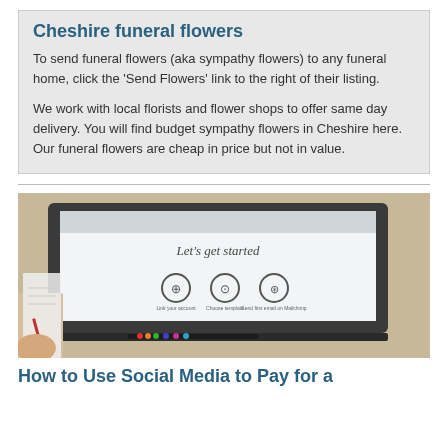Cheshire funeral flowers
To send funeral flowers (aka sympathy flowers) to any funeral home, click the 'Send Flowers' link to the right of their listing.
We work with local florists and flower shops to offer same day delivery. You will find budget sympathy flowers in Cheshire here. Our funeral flowers are cheap in price but not in value.
[Figure (photo): Photograph of a laptop screen showing a 'Let's get started' onboarding screen with three circular icons, shot from an angle with a hand and notepad visible in the foreground.]
How to Use Social Media to Pay for a